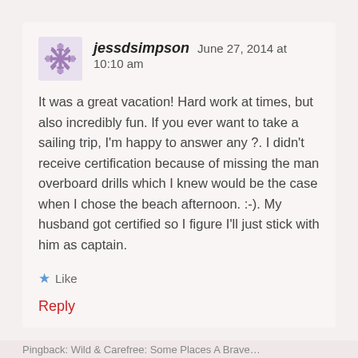jessdsimpson   June 27, 2014 at 10:10 am
It was a great vacation! Hard work at times, but also incredibly fun. If you ever want to take a sailing trip, I'm happy to answer any ?. I didn't receive certification because of missing the man overboard drills which I knew would be the case when I chose the beach afternoon. :-). My husband got certified so I figure I'll just stick with him as captain.
★ Like
Reply